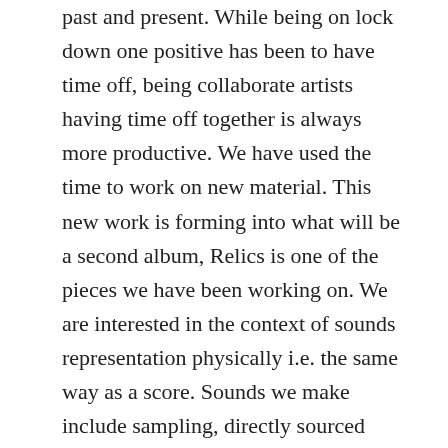past and present. While being on lock down one positive has been to have time off, being collaborate artists having time off together is always more productive. We have used the time to work on new material. This new work is forming into what will be a second album, Relics is one of the pieces we have been working on. We are interested in the context of sounds representation physically i.e. the same way as a score. Sounds we make include sampling, directly sourced from surroundings, with guitar, drums and some vocal elements to create a description of form. Music is movement, for this reason it is always in flux, it has the ability to transcend and work on many different platforms. Sound is pushing our practise further creating something that is becoming a micro-environment. Musically we create each piece as we would a sketch, starting with a basic structure, slowly